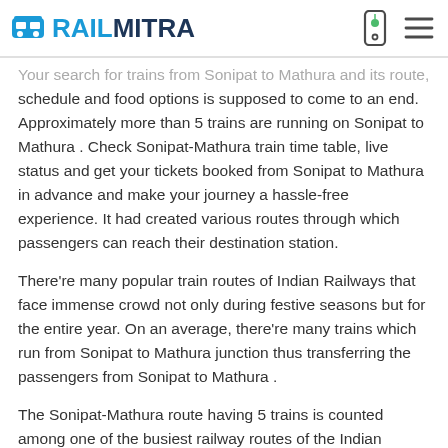RAILMITRA
Your search for trains from Sonipat to Mathura and its route, schedule and food options is supposed to come to an end. Approximately more than 5 trains are running on Sonipat to Mathura . Check Sonipat-Mathura train time table, live status and get your tickets booked from Sonipat to Mathura in advance and make your journey a hassle-free experience. It had created various routes through which passengers can reach their destination station.
There're many popular train routes of Indian Railways that face immense crowd not only during festive seasons but for the entire year. On an average, there're many trains which run from Sonipat to Mathura junction thus transferring the passengers from Sonipat to Mathura .
The Sonipat-Mathura route having 5 trains is counted among one of the busiest railway routes of the Indian Railways. Connecting from Sonipat to Mathura the train passes through vast green fields,woods, bridges and villages and provides a spectacular view of our nature.